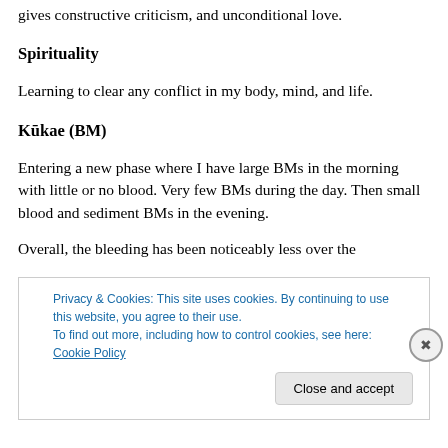gives constructive criticism, and unconditional love.
Spirituality
Learning to clear any conflict in my body, mind, and life.
Kūkae (BM)
Entering a new phase where I have large BMs in the morning with little or no blood. Very few BMs during the day. Then small blood and sediment BMs in the evening.
Overall, the bleeding has been noticeably less over the
Privacy & Cookies: This site uses cookies. By continuing to use this website, you agree to their use.
To find out more, including how to control cookies, see here: Cookie Policy